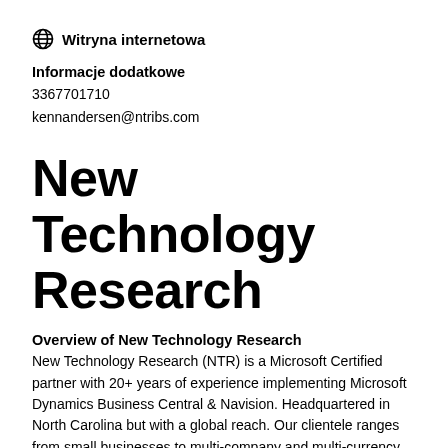Witryna internetowa
Informacje dodatkowe
3367701710
kennandersen@ntribs.com
New Technology Research
Overview of New Technology Research
New Technology Research (NTR) is a Microsoft Certified partner with 20+ years of experience implementing Microsoft
Dynamics Business Central & Navision. Headquartered in North Carolina but with a global reach. Our clientele ranges from small businesses to multi-company and multi-currency organizations unified on a single system. With cost effective support and deep industry expertise in Manufacturing